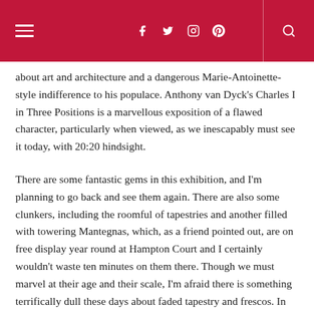Navigation header with hamburger menu, social icons (facebook, twitter, instagram, pinterest), and search icon on crimson background
about art and architecture and a dangerous Marie-Antoinette-style indifference to his populace. Anthony van Dyck's Charles I in Three Positions is a marvellous exposition of a flawed character, particularly when viewed, as we inescapably must see it today, with 20:20 hindsight.
There are some fantastic gems in this exhibition, and I'm planning to go back and see them again. There are also some clunkers, including the roomful of tapestries and another filled with towering Mantegnas, which, as a friend pointed out, are on free display year round at Hampton Court and I certainly wouldn't waste ten minutes on them there. Though we must marvel at their age and their scale, I'm afraid there is something terrifically dull these days about faded tapestry and frescos. In years to come, the gallery-goers of the future will no doubt